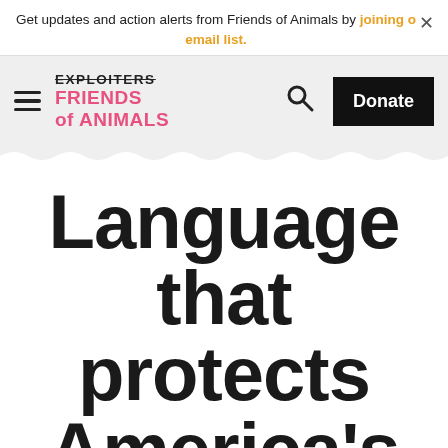Get updates and action alerts from Friends of Animals by joining our email list.
[Figure (logo): Friends of Animals logo with EXPLOITERS crossed out above FRIENDS of ANIMALS in pink, hamburger menu icon on left, search icon, and Donate button]
Language that protects America's